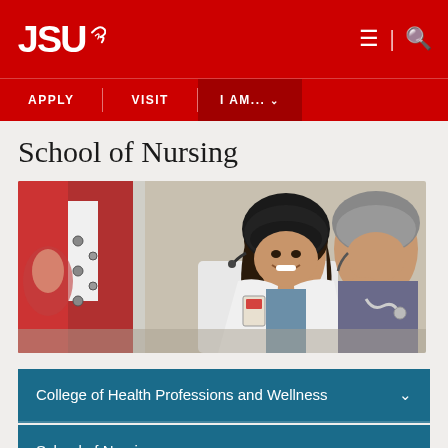JSU - APPLY | VISIT | I AM...
School of Nursing
[Figure (photo): Two nursing students in flight helmets and white lab coats sitting inside a helicopter. The female student in the foreground is smiling at the camera.]
College of Health Professions and Wellness
School of Nursing